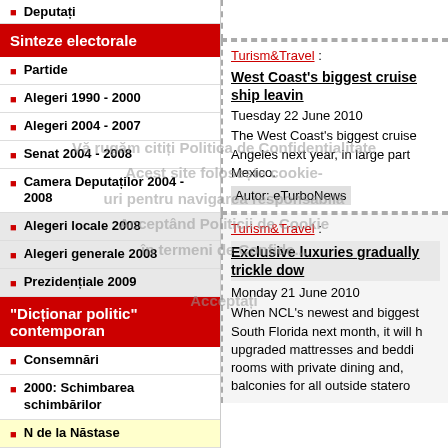Deputați
Sinteze electorale
Partide
Alegeri 1990 - 2000
Alegeri 2004 - 2007
Senat 2004 - 2008
Camera Deputaților 2004 - 2008
Alegeri locale 2008
Alegeri generale 2008
Prezidențiale 2009
"Dicționar politic" contemporan
Consemnări
2000: Schimbarea schimbărilor
N de la Năstase
I de la Iliescu
B de la Băsescu
AlegRO Bulletin
Turism&Travel :
West Coast's biggest cruise ship leavi...
Tuesday 22 June 2010
The West Coast's biggest cruise... Angeles next year, in large part... Mexico.
Autor: eTurboNews
Turism&Travel :
Exclusive luxuries gradually trickle dow...
Monday 21 June 2010
When NCL's newest and biggest... South Florida next month, it will h... upgraded mattresses and beddi... rooms with private dining and,... balconies for all outside statero...